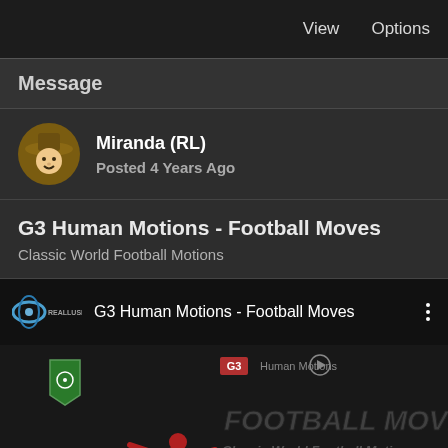View  Options
Message
Miranda (RL)
Posted 4 Years Ago
G3 Human Motions - Football Moves
Classic World Football Motions
[Figure (screenshot): YouTube-style video embed showing 'G3 Human Motions - Football Moves' with Reallusion logo in top bar, thumbnail showing red running figure and football motion silhouettes with 'FOOTBALL MOVES Classic World Football Motions' text overlay and play button]